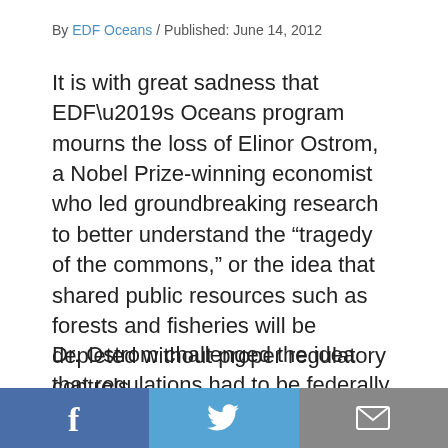By EDF Oceans / Published: June 14, 2012
It is with great sadness that EDF’s Oceans program mourns the loss of Elinor Ostrom, a Nobel Prize-winning economist who led groundbreaking research to better understand the “tragedy of the commons,” or the idea that shared public resources such as forests and fisheries will be depleted without proper regulatory controls.
Dr. Ostrom challenged the idea that regulations had to be federally mandated or ‘top-down,’